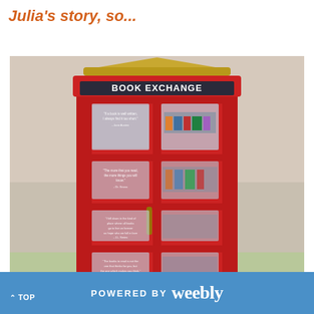Julia's story, so...
[Figure (photo): A red British-style phone booth converted into a Book Exchange, with literary quotes on the glass panels, situated outdoors in what appears to be a shopping area.]
^ TOP   POWERED BY  weebly